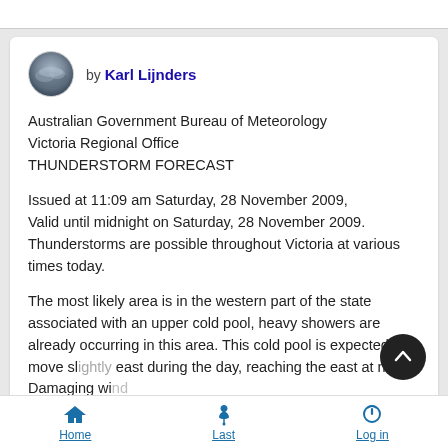[Figure (photo): Circular avatar photo showing a stormy/cloudy sky scene, used as author profile picture]
by Karl Lijnders
Australian Government Bureau of Meteorology
Victoria Regional Office
THUNDERSTORM FORECAST
Issued at 11:09 am Saturday, 28 November 2009,
Valid until midnight on Saturday, 28 November 2009.
Thunderstorms are possible throughout Victoria at various times today.
The most likely area is in the western part of the state associated with an upper cold pool, heavy showers are already occurring in this area. This cold pool is expected to move slightly east during the day, reaching the east at night. Damaging wind gusts and large hail are a small possibility with those
Home  Last  Log in